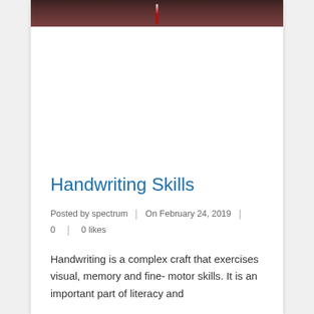[Figure (photo): Partial top photo strip showing what appears to be a red pen or pencil on a dark background]
Handwriting Skills
Posted by spectrum | On February 24, 2019 | 0 | 0 likes
Handwriting is a complex craft that exercises visual, memory and fine- motor skills. It is an important part of literacy and